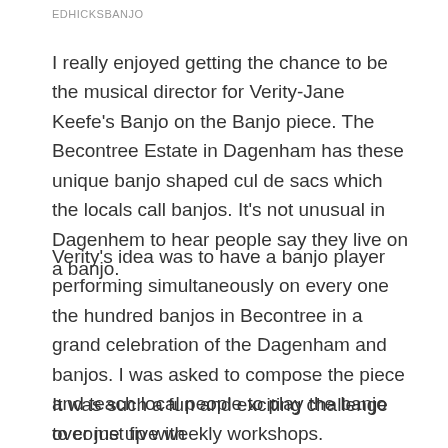EDHICKSBANJO
I really enjoyed getting the chance to be the musical director for Verity-Jane Keefe's Banjo on the Banjo piece. The Becontree Estate in Dagenham has these unique banjo shaped cul de sacs which the locals call banjos. It's not unusual in Dagenhem to hear people say they live on a banjo.
Verity's idea was to have a banjo player performing simultaneously on every one the hundred banjos in Becontree in a grand celebration of the Dagenham and banjos. I was asked to compose the piece and teach local people to play the banjo over just five weekly workshops.
It was such a fun and exciting challenge to come up with